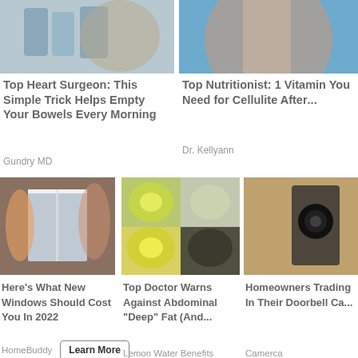[Figure (photo): Top left: people near water bottles, partial view]
Top Heart Surgeon: This Simple Trick Helps Empty Your Bowels Every Morning
Gundry MD
[Figure (photo): Top right: woman in blue shirt, partially cropped]
Top Nutritionist: 1 Vitamin You Need for Cellulite After...
Dr. Kellyann
[Figure (photo): Bottom left: workers installing windows]
Here's What New Windows Should Cost You In 2022
HomeBuddy
[Figure (photo): Bottom center: lemon water and citrus fruits]
Top Doctor Warns Against Abdominal "Deep" Fat (And...
Lemon Water Benefits
[Figure (photo): Bottom right: doorbell camera on brick wall, partially cropped]
Homeowner Trading In Their Doorbell Ca...
Camerca